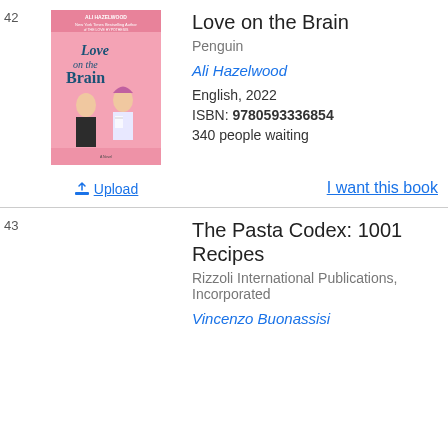42
[Figure (illustration): Book cover of 'Love on the Brain' by Ali Hazelwood — pink background with illustrated characters]
Upload
Love on the Brain
Penguin
Ali Hazelwood
English, 2022
ISBN: 9780593336854
340 people waiting
I want this book
43
The Pasta Codex: 1001 Recipes
Rizzoli International Publications, Incorporated
Vincenzo Buonassisi